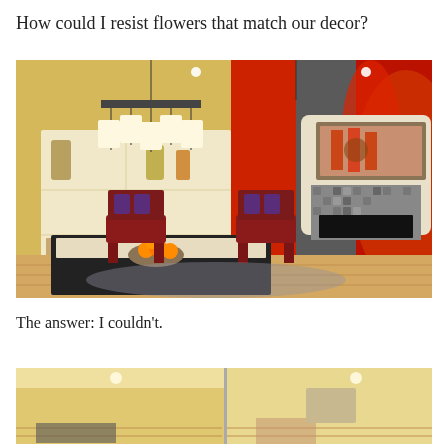How could I resist flowers that match our decor?
[Figure (photo): Interior photo of a dining room with red and yellow decor, built-in shelving, a chandelier, dark dining table with red chairs, a bowl of oranges, and a fireplace with mosaic tile surround. The wall has a large red floral mural/artwork.]
The answer: I couldn't.
[Figure (photo): Partial view of an interior room, appears to be a kitchen or living area with warm lighting, cut off at the bottom of the page.]